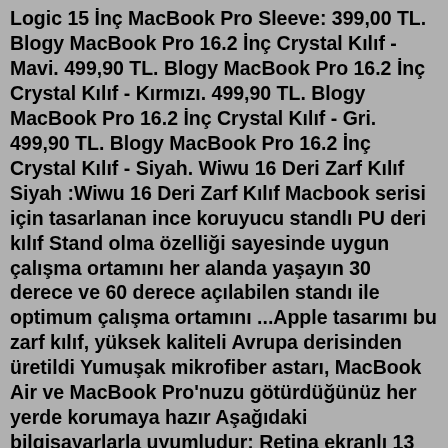Logic 15 İnç MacBook Pro Sleeve: 399,00 TL. Blogy MacBook Pro 16.2 İnç Crystal Kılıf - Mavi. 499,90 TL. Blogy MacBook Pro 16.2 İnç Crystal Kılıf - Kırmızı. 499,90 TL. Blogy MacBook Pro 16.2 İnç Crystal Kılıf - Gri. 499,90 TL. Blogy MacBook Pro 16.2 İnç Crystal Kılıf - Siyah. Wiwu 16 Deri Zarf Kılıf Siyah :Wiwu 16 Deri Zarf Kılıf Macbook serisi için tasarlanan ince koruyucu standlı PU deri kılıf Stand olma özelliği sayesinde uygun çalışma ortamını her alanda yaşayın 30 derece ve 60 derece açılabilen standı ile optimum çalışma ortamını ...Apple tasarımı bu zarf kılıf, yüksek kaliteli Avrupa derisinden üretildi Yumuşak mikrofiber astarı, MacBook Air ve MacBook Pro'nuzu götürdüğünüz her yerde korumaya hazır Aşağıdaki bilgisayarlarla uyumludur: Retina ekranlı 13 inç MacBook Air, Thunderbolt 3 bağlantı noktasına sahip 13 inç MacBook Pro M1 işlemcili MacBook Pro videolarına devam ediyorum, yeni aldığım şeffaf kapak MacBook kılıfı için kutu açılımını yapıyorum ve özelliklerinden bahsediyorum. ... Apple tasarımı bu zarf kılıf, yüksek